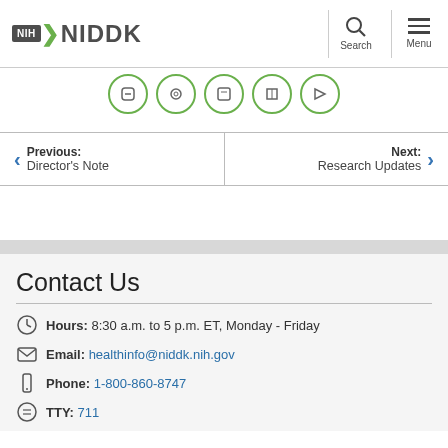NIH NIDDK — Search | Menu
[Figure (other): Row of five green-outlined social media icon circles (partially visible at top)]
Previous: Director's Note | Next: Research Updates
Contact Us
Hours: 8:30 a.m. to 5 p.m. ET, Monday - Friday
Email: healthinfo@niddk.nih.gov
Phone: 1-800-860-8747
TTY: 711